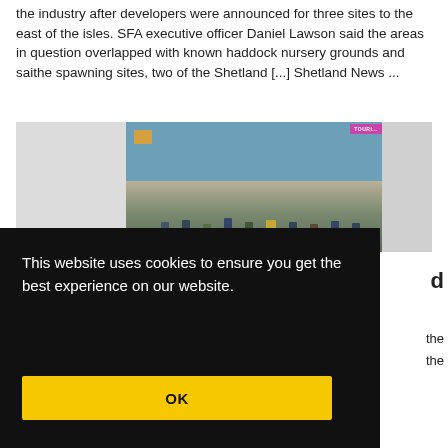the industry after developers were announced for three sites to the east of the isles. SFA executive officer Daniel Lawson said the areas in question overlapped with known haddock nursery grounds and saithe spawning sites, two of the Shetland [...] Shetland News ...
[Figure (photo): Photo of a group of people holding protest signs on a street, with a blue building in the background and a purple/pink shop sign visible.]
20TH AUGUST 2022
d
This website uses cookies to ensure you get the best experience on our website.
OK
the the
ecological, social and economic sustainability in the UK